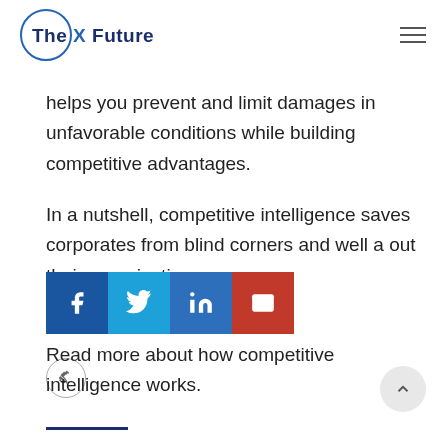The X Future
helps you prevent and limit damages in unfavorable conditions while building competitive advantages.
In a nutshell, competitive intelligence saves corporates from blind corners and well a out their organizations.
[Figure (other): Social share buttons: Facebook, Twitter, LinkedIn, Email]
Read more about how competitive intelligence works.